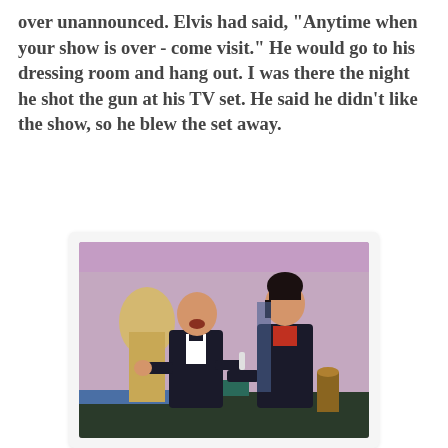over unannounced. Elvis had said, "Anytime when your show is over - come visit." He would go to his dressing room and hang out. I was there the night he shot the gun at his TV set. He said he didn't like the show, so he blew the set away.
[Figure (photo): Two men standing on a stage. Left man in black tuxedo with bow tie, mouth open, gesturing with hands. Right man in black suit with red shirt collar, dark pompadour hair, facing left. Background is purple/pink stage lighting with set pieces.]